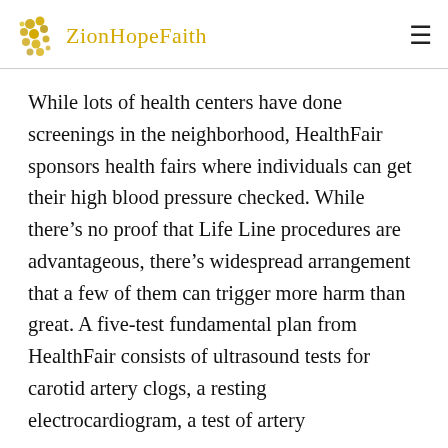ZionHopeFaith
While lots of health centers have done screenings in the neighborhood, HealthFair sponsors health fairs where individuals can get their high blood pressure checked. While there’s no proof that Life Line procedures are advantageous, there’s widespread arrangement that a few of them can trigger more harm than great. A five-test fundamental plan from HealthFair consists of ultrasound tests for carotid artery clogs, a resting electrocardiogram, a test of artery